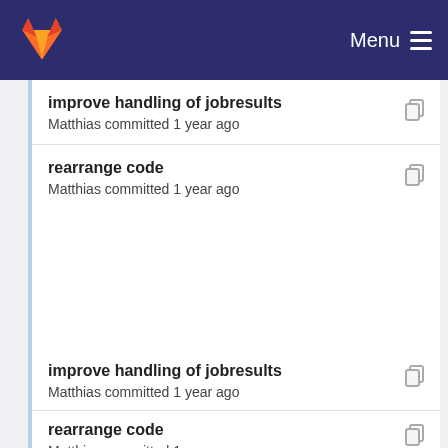Menu
improve handling of jobresults
Matthias committed 1 year ago
rearrange code
Matthias committed 1 year ago
improve handling of jobresults
Matthias committed 1 year ago
rearrange code
Matthias committed 1 year ago
improve handling of jobresults
Matthias committed 1 year ago